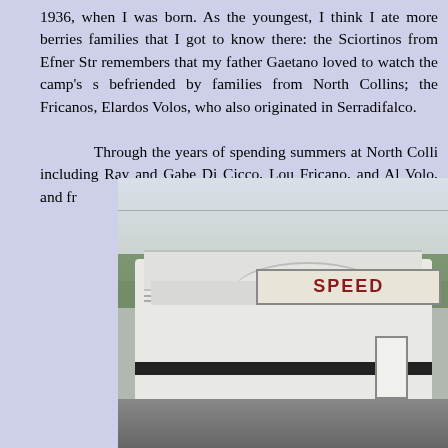1936, when I was born.  As the youngest, I think I ate more berries families that I got to know there: the Sciortinos from Efner Str remembers that my father Gaetano loved to watch the camp's s befriended by families from North Collins; the Fricanos, Elardos Volos, who also originated in Serradifalco.

Through the years of spending summers at North Colli including Ray and Gabe Di Cicco, Lou Fricano, and Al Volo, and fr
[Figure (photo): Photograph of a retro diner building with 'SPEED' sign, white art deco style structure with dark band, trees in background, road in foreground]